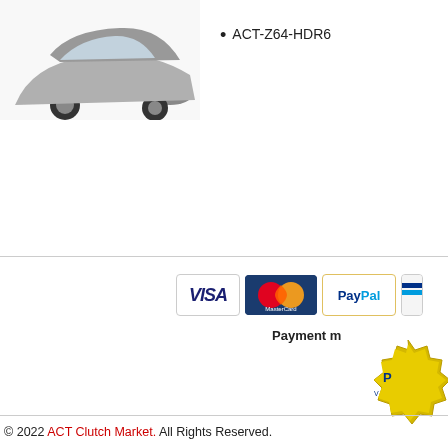[Figure (photo): Partial view of a vehicle/car at the top left corner of the page]
ACT-Z64-HDR6
[Figure (infographic): Payment method icons: VISA, MasterCard, PayPal, and a partially visible fourth icon]
Payment m
[Figure (logo): Gold seal/badge partially visible at bottom right of the payment section, showing text starting with 'P']
© 2022 ACT Clutch Market. All Rights Reserved.